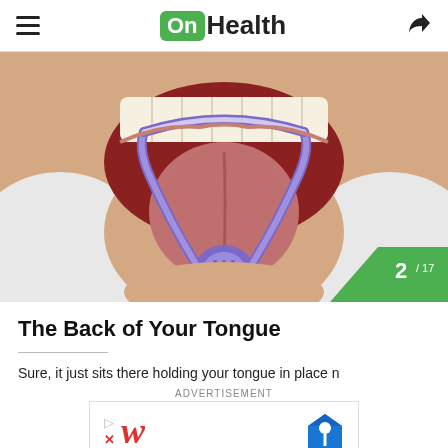OnHealth
[Figure (photo): Close-up of a person using a purple tongue scraper/cleaner on their extended tongue, mouth wide open, wearing a white robe]
The Back of Your Tongue
Sure, it just sits there holding your tongue in place n…
[Figure (other): Advertisement banner with Walgreens logo (red italic W) and a blue diamond map pin icon]
ADVERTISEMENT